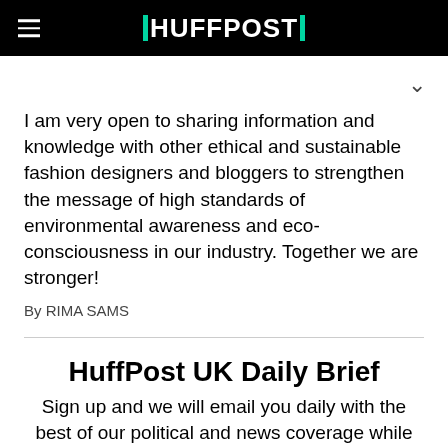HUFFPOST
I am very open to sharing information and knowledge with other ethical and sustainable fashion designers and bloggers to strengthen the message of high standards of environmental awareness and eco-consciousness in our industry. Together we are stronger!
By RIMA SAMS
HuffPost UK Daily Brief
Sign up and we will email you daily with the best of our political and news coverage while also giving you a taste of our most-popular lifestyle, opinion and personal blogs.